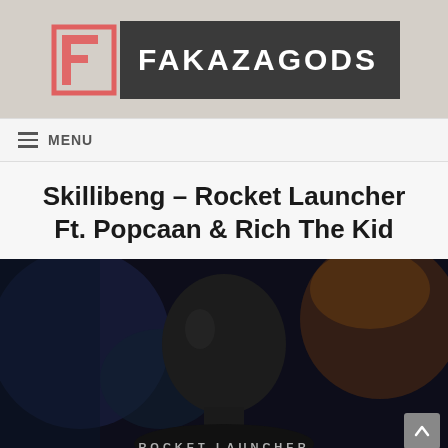[Figure (logo): FakazaGods logo: stylized pink/red F icon on left, dark grey rectangle with white text FAKAZAGODS on right]
MENU
Skillibeng – Rocket Launcher Ft. Popcaan & Rich The Kid
[Figure (photo): Dark moody close-up photo of a person's face in shadow with text ROCKET LAUNCHER at bottom]
ROCKET LAUNCHER